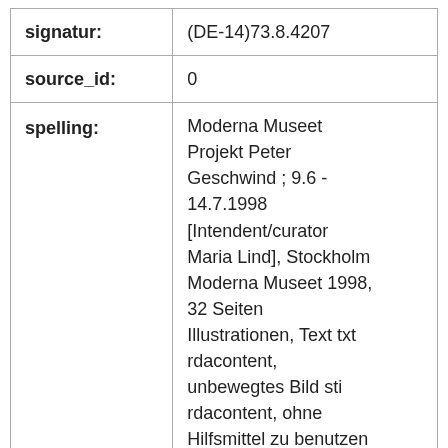| signatur: | (DE-14)73.8.4207 |
| source_id: | 0 |
| spelling: | Moderna Museet Projekt Peter Geschwind ; 9.6 - 14.7.1998 [Intendent/curator Maria Lind], Stockholm Moderna Museet 1998, 32 Seiten Illustrationen, Text txt rdacontent, unbewegtes Bild sti rdacontent, ohne Hilfsmittel zu benutzen n rdamedia, Band nc rdacarrier, Moderna |